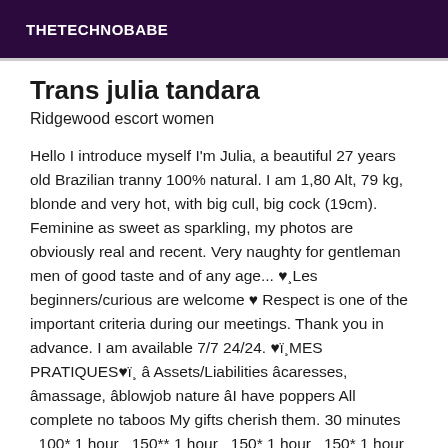THETECHNOBABE
Trans julia tandara
Ridgewood escort women
Hello I introduce myself I'm Julia, a beautiful 27 years old Brazilian tranny 100% natural. I am 1,80 Alt, 79 kg, blonde and very hot, with big cull, big cock (19cm). Feminine as sweet as sparkling, my photos are obviously real and recent. Very naughty for gentleman men of good taste and of any age... ♥¸Les beginners/curious are welcome ♥ Respect is one of the important criteria during our meetings. Thank you in advance. I am available 7/7 24/24. ♥ï¸MES PRATIQUES♥ï¸ â Assets/Liabilities âcaresses, âmassage, âblowjob nature âI have poppers All complete no taboos My gifts cherish them. 30 minutes _100* 1 hour _150** 1 hour _150* 1 hour _150* 1 hour ♥ï¸Si you are looking for a moment of relaxation and complicity I would be there perfect person to make you